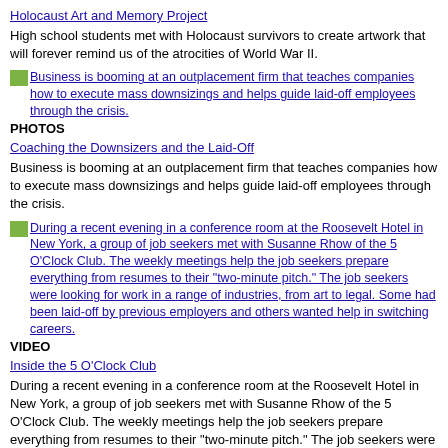Holocaust Art and Memory Project
High school students met with Holocaust survivors to create artwork that will forever remind us of the atrocities of World War II.
[Figure (photo): Thumbnail image link for Coaching the Downsizers and the Laid-Off article]
PHOTOS
Coaching the Downsizers and the Laid-Off
Business is booming at an outplacement firm that teaches companies how to execute mass downsizings and helps guide laid-off employees through the crisis.
[Figure (photo): Thumbnail image link for Inside the 5 O'Clock Club article]
VIDEO
Inside the 5 O'Clock Club
During a recent evening in a conference room at the Roosevelt Hotel in New York, a group of job seekers met with Susanne Rhow of the 5 O'Clock Club. The weekly meetings help the job seekers prepare everything from resumes to their "two-minute pitch." The job seekers were looking for work in a range of industries, from art to legal. Some had been laid-off by previous employers and others wanted help in switching careers.
PHOTOS
Sotomayor Sworn In as Supreme Court Justice
Judge Sonia Sotomayor was sworn in as a Justice of the Supreme Court on August 8, making her the first Latina and third woman to serve on the nation's highest court. Though Sotomayor faced intense questioning from Republicans, the Senate approved her nomination by a wide margin.